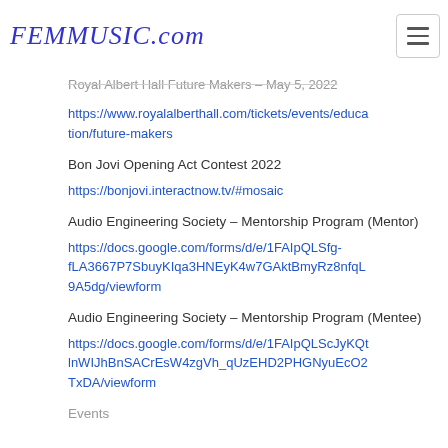FEMMUSIC.com
Royal Albert Hall Future Makers – May 5, 2022
https://www.royalalberthall.com/tickets/events/education/future-makers
Bon Jovi Opening Act Contest 2022
https://bonjovi.interactnow.tv/#mosaic
Audio Engineering Society – Mentorship Program (Mentor)
https://docs.google.com/forms/d/e/1FAIpQLSfg-fLA3667P7SbuyKIqa3HNEyK4w7GAktBmyRz8nfqL9A5dg/viewform
Audio Engineering Society – Mentorship Program (Mentee)
https://docs.google.com/forms/d/e/1FAIpQLScJyKQtlnWIJhBnSACrEsW4zgVh_qUzEHD2PHGNyuEcO2TxDA/viewform
Events